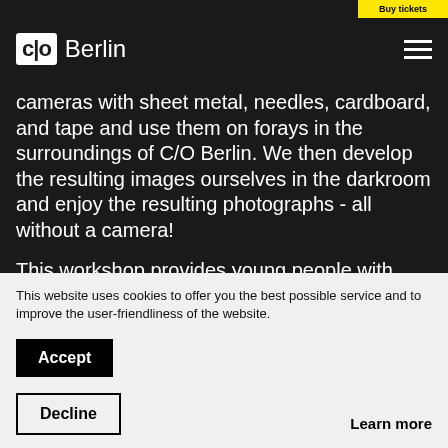C/O Berlin
cameras with sheet metal, needles, cardboard, and tape and use them on forays in the surroundings of C/O Berlin. We then develop the resulting images ourselves in the darkroom and enjoy the resulting photographs - all without a camera!
This workshop provides young people with knowledge and offers hands-on practice in analog photography and its techniques.
This website uses cookies to offer you the best possible service and to improve the user-friendliness of the website.
Accept
Decline
Learn more